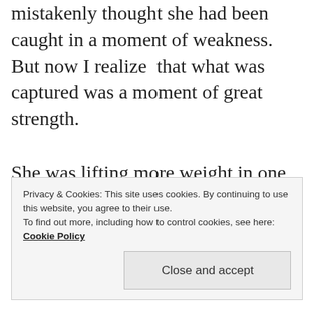mistakenly thought she had been caught in a moment of weakness. But now I realize  that what was captured was a moment of great strength.

She was lifting more weight in one day than some people lift in a lifetime. She was trying. She was risking it all. She wasnt thinking about perfect, she was thinking
Privacy & Cookies: This site uses cookies. By continuing to use this website, you agree to their use.
To find out more, including how to control cookies, see here:
Cookie Policy

Close and accept